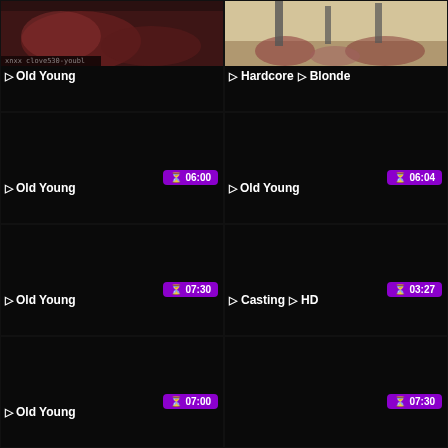[Figure (screenshot): Video thumbnail showing people on a couch, pink tones, dark red background]
🏷Old Young
[Figure (screenshot): Video thumbnail showing people on a floor with patterned carpet]
🏷Hardcore 🏷Blonde
[Figure (screenshot): Dark/black video thumbnail placeholder with duration 06:00]
🏷Old Young
[Figure (screenshot): Dark/black video thumbnail placeholder with duration 06:04]
🏷Old Young
[Figure (screenshot): Dark/black video thumbnail placeholder with duration 07:30]
🏷Old Young
[Figure (screenshot): Dark/black video thumbnail placeholder with duration 03:27]
🏷Casting 🏷HD
[Figure (screenshot): Dark/black video thumbnail placeholder with duration 07:00]
[Figure (screenshot): Dark/black video thumbnail placeholder with duration 07:30]